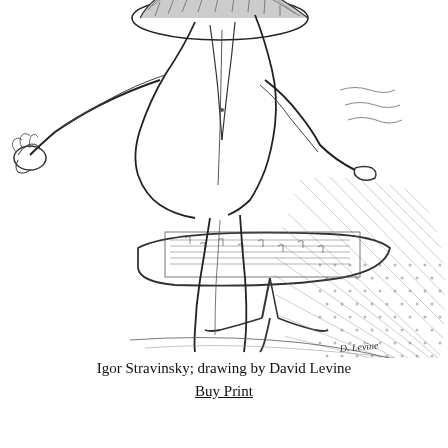[Figure (illustration): A pen-and-ink caricature drawing of Igor Stravinsky conducting, bent over a music stand/podium, wearing a suit and hat. His head is obscured/bent down. The drawing is signed 'D. Levine' in the lower right corner. Black and white sketch style with crosshatching.]
Igor Stravinsky; drawing by David Levine
Buy Print